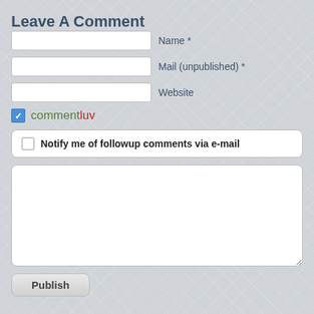Leave A Comment
Name *
Mail (unpublished) *
Website
commentluv
Notify me of followup comments via e-mail
[Figure (screenshot): Comment textarea (empty white box)]
Publish